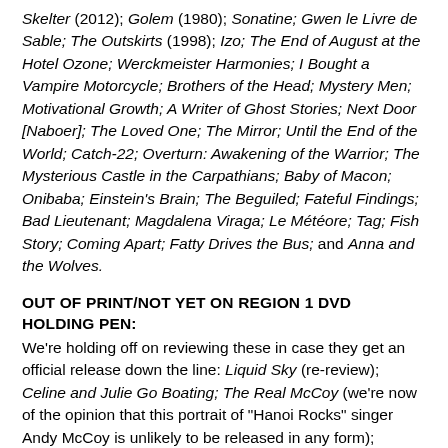Skelter (2012); Golem (1980); Sonatine; Gwen le Livre de Sable; The Outskirts (1998); Izo; The End of August at the Hotel Ozone; Werckmeister Harmonies; I Bought a Vampire Motorcycle; Brothers of the Head; Mystery Men; Motivational Growth; A Writer of Ghost Stories; Next Door [Naboer]; The Loved One; The Mirror; Until the End of the World; Catch-22; Overturn: Awakening of the Warrior; The Mysterious Castle in the Carpathians; Baby of Macon; Onibaba; Einstein's Brain; The Beguiled; Fateful Findings; Bad Lieutenant; Magdalena Viraga; Le Météore; Tag; Fish Story; Coming Apart; Fatty Drives the Bus; and Anna and the Wolves.
OUT OF PRINT/NOT YET ON REGION 1 DVD HOLDING PEN:
We're holding off on reviewing these in case they get an official release down the line: Liquid Sky (re-review); Celine and Julie Go Boating; The Real McCoy (we're now of the opinion that this portrait of "Hanoi Rocks" singer Andy McCoy is unlikely to be released in any form); Themroc; Candy (1968) (DVDs are available as collectors' items but we're hoping there will be a proper one); Hanzo: End of Half of [Bohble Bath] (Hammertime)